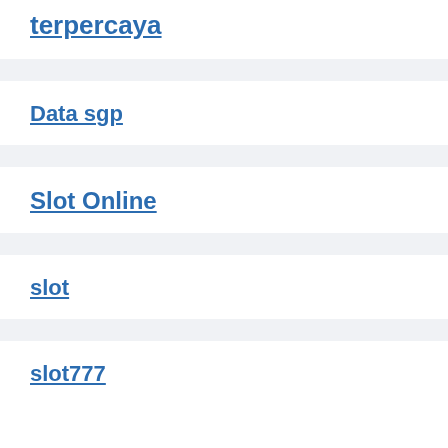terpercaya
Data sgp
Slot Online
slot
slot777